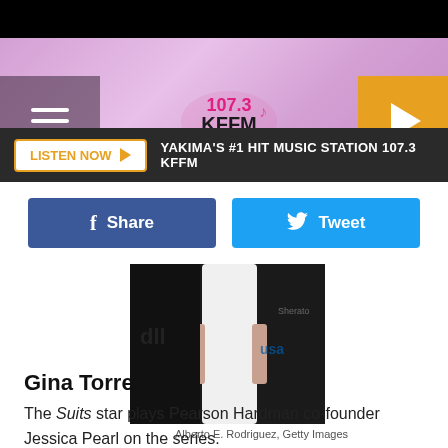[Figure (logo): 107.3 KFFM radio station logo with pink/purple gradient header, hamburger menu on left, orange play button circle on right]
LISTEN NOW ▶  YAKIMA'S #1 HIT MUSIC STATION 107.3 KFFM
[Figure (other): Facebook Share button (blue) and Twitter Tweet button (light blue) side by side]
[Figure (photo): Photo of Gina Torres in a white dress at a red carpet event with USA Network and Sheraton logos in background]
Alberto E. Rodriguez, Getty Images
Gina Torres
The Suits star plays Pearson Hardman co-founder Jessica Pearl on the series.
[Figure (photo): Partial photo at bottom showing a person at a Suits TV show event]